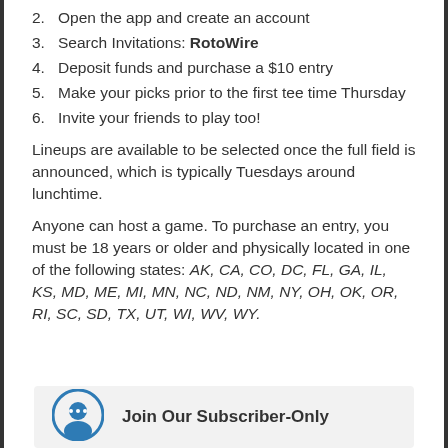2. Open the app and create an account
3. Search Invitations: RotoWire
4. Deposit funds and purchase a $10 entry
5. Make your picks prior to the first tee time Thursday
6. Invite your friends to play too!
Lineups are available to be selected once the full field is announced, which is typically Tuesdays around lunchtime.
Anyone can host a game. To purchase an entry, you must be 18 years or older and physically located in one of the following states: AK, CA, CO, DC, FL, GA, IL, KS, MD, ME, MI, MN, NC, ND, NM, NY, OH, OK, OR, RI, SC, SD, TX, UT, WI, WV, WY.
Join Our Subscriber-Only